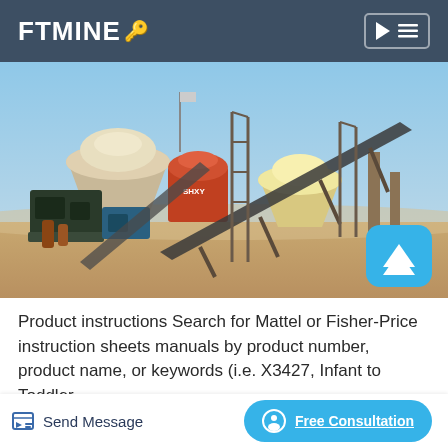FTMINE
[Figure (photo): Industrial mining/crushing plant with conveyor belts, cone crushers, and heavy equipment on a sandy site under blue sky]
Product instructions Search for Mattel or Fisher-Price instruction sheets manuals by product number, product name, or keywords (i.e. X3427, Infant to Toddler
Send Message   Free Consultation